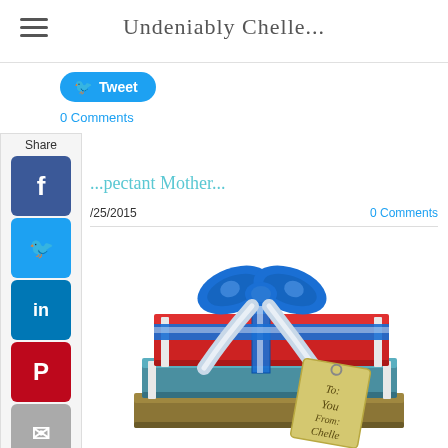Undeniably Chelle...
[Figure (screenshot): Tweet button - blue rounded pill button with Twitter bird icon and text 'Tweet']
0 Comments
[Figure (infographic): Share sidebar with Facebook, Twitter, LinkedIn, Pinterest, Email, and Share buttons]
...pectant Mother...
/25/2015
0 Comments
[Figure (illustration): Stack of books wrapped as a gift with a blue and silver bow/ribbon and a gift tag reading 'To: You From: Chelle']